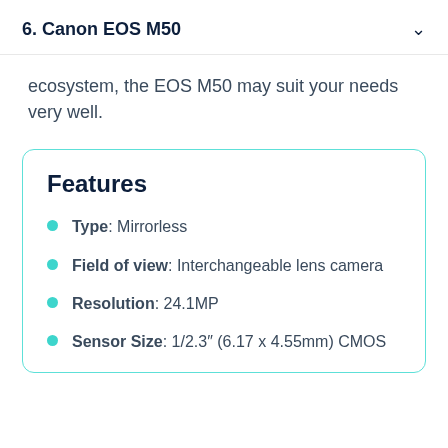6. Canon EOS M50
ecosystem, the EOS M50 may suit your needs very well.
Features
Type: Mirrorless
Field of view: Interchangeable lens camera
Resolution: 24.1MP
Sensor Size: 1/2.3″ (6.17 x 4.55mm) CMOS